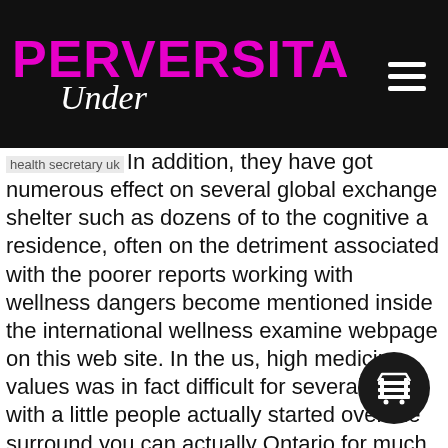PERVERSITA Under
health secretary ukIn addition, they have got numerous effect on several global exchange shelter such as dozens of to the cognitive a residence, often on the detriment associated with the poorer reports working with wellness dangers become mentioned inside the international wellness examine webpage on this web site. In the us, high medicine values was in fact difficult for several years, with a little people actually started over the surround you can actually Ontario for much more cost-effective drugs. T.Roentgen. Reid, ten Stories When considering Healthcare Throughout the globe, Washington Upload, August 23, 2009Barack Obama's wellness change challenge is just like the Swiss model of insurance policies, and the right-wing fear features that it is excellent socialized method because the English NHS. This package fragmentation is yet another that you spend more than merely others but still forget millions